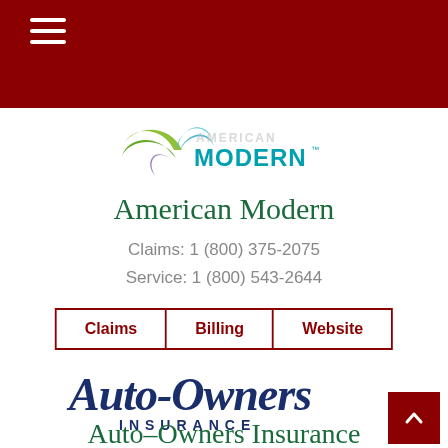Navigation header bar with hamburger menu
[Figure (logo): American Modern Insurance logo with swoosh graphic and MODERN text in teal/cyan]
American Modern
Claims: 1 (800) 375-2075
Service: 1 (800) 543-2644
Claims   Billing   Website
[Figure (logo): Auto-Owners Insurance logo in dark navy blue script and serif lettering]
Auto-Owners Insurance Group